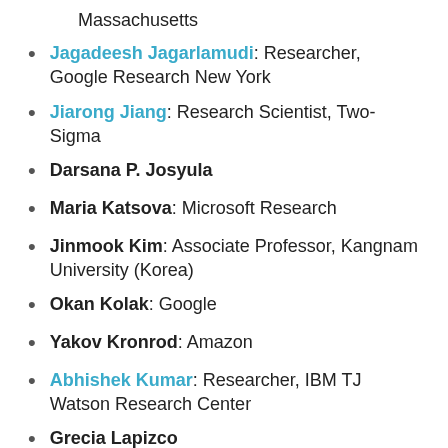Massachusetts
Jagadeesh Jagarlamudi: Researcher, Google Research New York
Jiarong Jiang: Research Scientist, Two-Sigma
Darsana P. Josyula
Maria Katsova: Microsoft Research
Jinmook Kim: Associate Professor, Kangnam University (Korea)
Okan Kolak: Google
Yakov Kronrod: Amazon
Abhishek Kumar: Researcher, IBM TJ Watson Research Center
Grecia Lapizco
Adam (Woei-Jyh) Lee: (2009) Postdoc Fellow,